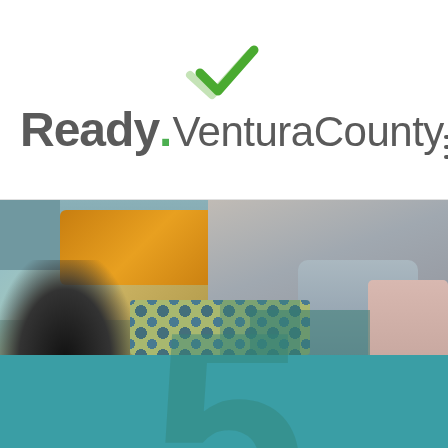[Figure (logo): Ready Ventura County logo with green checkmark above the text. 'Ready' is bold dark gray, followed by a green dot, then 'Ventura County' in lighter gray weight.]
[Figure (photo): A blurred photo of a man and child sitting on a teal/gray sofa with an orange pillow. A dark object (possibly a bag or bowl) is in the foreground left, and colorful dotted fabric is visible.]
[Figure (infographic): Teal background section with a large semi-transparent number '5' watermark in a slightly darker teal/green color.]